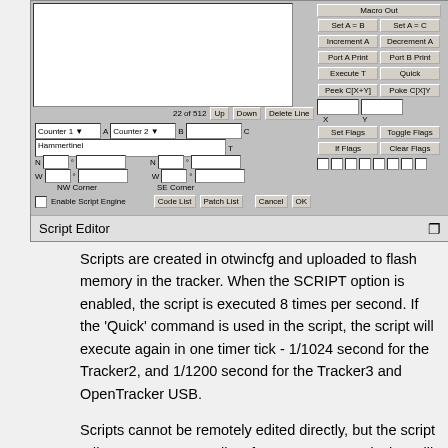[Figure (screenshot): Script Editor dialog window from otwincfg software showing UI controls including counters, text fields, buttons (Set A=B, Set A=C, Increment A, Decrement A, Port A Print, Port B Print, Execute T, Quick, Peek C[X+Y], Poke C[X]Y, Set Flags, Toggle Flags, If Flags, Clear Flags, Code List, Patch List, Cancel, OK, Enable Script Engine checkbox, NW Corner, SE Corner fields), line counter showing 22 of 512, Up/Down/Delete Line buttons]
Script Editor
Scripts are created in otwincfg and uploaded to flash memory in the tracker. When the SCRIPT option is enabled, the script is executed 8 times per second. If the 'Quick' command is used in the script, the script will execute again in one timer tick - 1/1024 second for the Tracker2, and 1/1200 second for the Tracker3 and OpenTracker USB.
Scripts cannot be remotely edited directly, but the script editor can generate a list of PATCH commands that will allow a prepared script to be uploaded to a remote tracker. Make sure the SCRIPT option is turned off while the script is